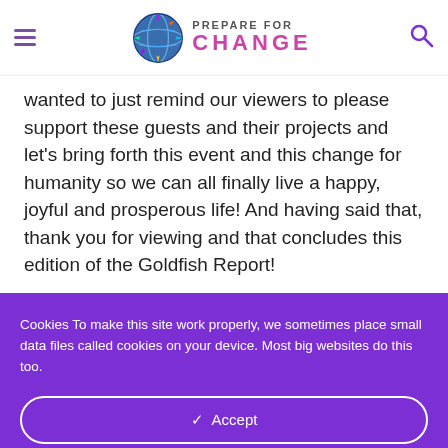PREPARE FOR CHANGE
wanted to just remind our viewers to please support these guests and their projects and let's bring forth this event and this change for humanity so we can all finally live a happy, joyful and prosperous life! And having said that, thank you for viewing and that concludes this edition of the Goldfish Report!
Cookies To make this site work properly, we sometimes place small data files called cookies on your device. Most big websites do this too.
✓ Accept
Change Settings ⚙